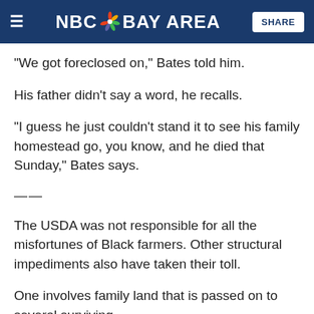NBC BAY AREA | SHARE
“We got foreclosed on,” Bates told him.
His father didn’t say a word, he recalls.
“I guess he just couldn’t stand it to see his family homestead go, you know, and he died that Sunday,” Bates says.
——
The USDA was not responsible for all the misfortunes of Black farmers. Other structural impediments also have taken their toll.
One involves family land that is passed on to several surviving